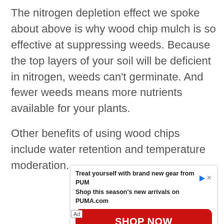The nitrogen depletion effect we spoke about above is why wood chip mulch is so effective at suppressing weeds. Because the top layers of your soil will be deficient in nitrogen, weeds can't germinate. And fewer weeds means more nutrients available for your plants.
Other benefits of using wood chips include water retention and temperature moderation.
[Figure (other): Advertisement banner for PUMA brand. Text reads: 'Treat yourself with brand new gear from PUMA' and 'Shop this season's new arrivals on PUMA.com' with a red 'SHOP NOW' button.]